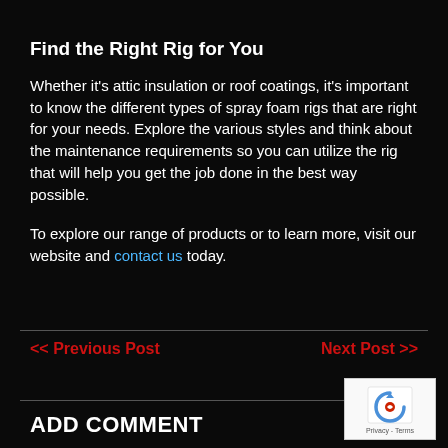Find the Right Rig for You
Whether it's attic insulation or roof coatings, it's important to know the different types of spray foam rigs that are right for your needs. Explore the various styles and think about the maintenance requirements so you can utilize the rig that will help you get the job done in the best way possible.
To explore our range of products or to learn more, visit our website and contact us today.
<< Previous Post    Next Post >>
ADD COMMENT
[Figure (logo): reCAPTCHA logo with Privacy and Terms text]